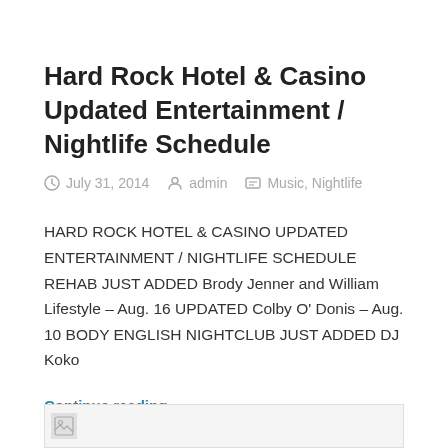Hard Rock Hotel & Casino Updated Entertainment / Nightlife Schedule
July 31, 2014   admin   Music, Nightlife
HARD ROCK HOTEL & CASINO UPDATED ENTERTAINMENT / NIGHTLIFE SCHEDULE REHAB JUST ADDED Brody Jenner and William Lifestyle – Aug. 16 UPDATED Colby O' Donis – Aug. 10 BODY ENGLISH NIGHTCLUB JUST ADDED DJ Koko
Continue reading »
[Figure (photo): Partial image strip at bottom of page showing a small image placeholder icon]